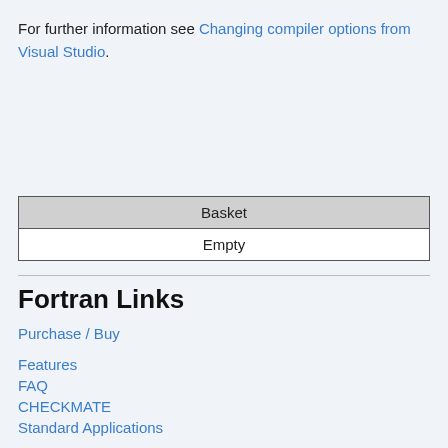For further information see Changing compiler options from Visual Studio.
| Basket |
| --- |
| Empty |
Fortran Links
Purchase / Buy
Features
FAQ
CHECKMATE
Standard Applications